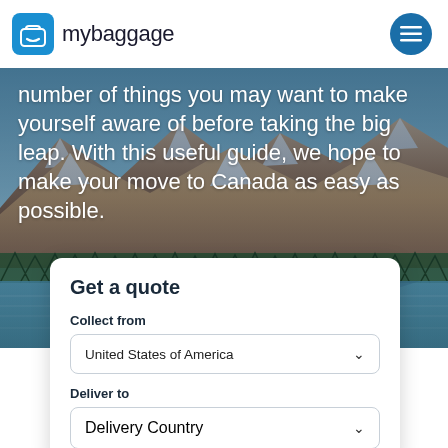mybaggage
number of things you may want to make yourself aware of before taking the big leap. With this useful guide, we hope to make your move to Canada as easy as possible.
Get a quote
Collect from
United States of America
Deliver to
Delivery Country